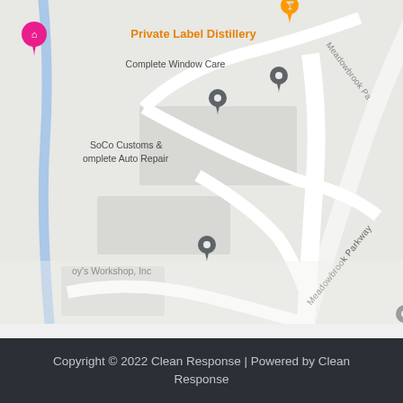[Figure (map): Google Maps screenshot showing Meadowbrook Parkway area with businesses: Private Label Distillery, Complete Window Care, SoCo Customs & Complete Auto Repair, Hammers Construction Inc, Boy's Workshop Inc, Claremont Park Self Storage, Circle K. Highway 24 (yellow diagonal road) visible on right. Meadowbrook Parkway, Woolsey Heights, and Preble Dr street labels visible.]
Copyright © 2022 Clean Response | Powered by Clean Response